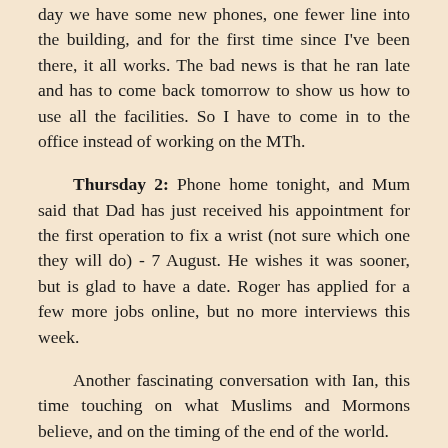day we have some new phones, one fewer line into the building, and for the first time since I've been there, it all works. The bad news is that he ran late and has to come back tomorrow to show us how to use all the facilities. So I have to come in to the office instead of working on the MTh.
Thursday 2: Phone home tonight, and Mum said that Dad has just received his appointment for the first operation to fix a wrist (not sure which one they will do) - 7 August. He wishes it was sooner, but is glad to have a date. Roger has applied for a few more jobs online, but no more interviews this week.
Another fascinating conversation with Ian, this time touching on what Muslims and Mormons believe, and on the timing of the end of the world.